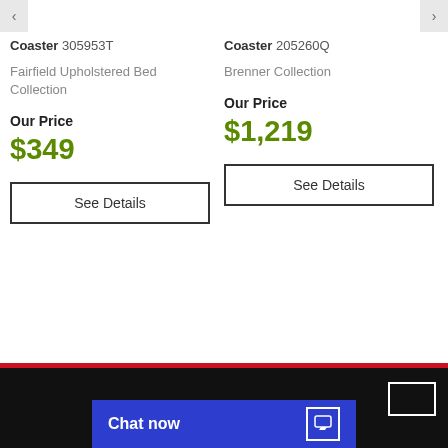Coaster 305953T
Fairfield Upholstered Bed Collection
Our Price $349
See Details
Coaster 205260Q
Brenner Collection
Our Price $1,219
See Details
CONTACT US
Chat now